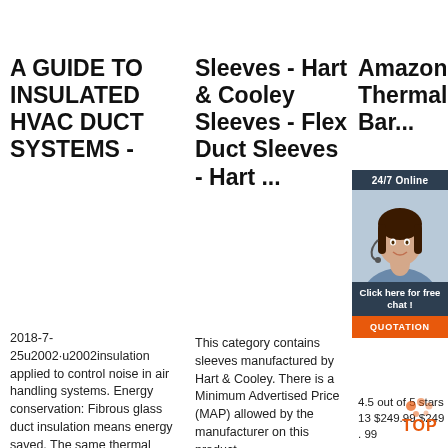A GUIDE TO INSULATED HVAC DUCT SYSTEMS -
2018-7-25u2002·u2002insulation applied to control noise in air handling systems. Energy conservation: Fibrous glass duct insulation means energy saved. The same thermal
Sleeves - Hart & Cooley Sleeves - Flex Duct Sleeves - Hart ...
This category contains sleeves manufactured by Hart & Cooley. There is a Minimum Advertised Price (MAP) allowed by the manufacturer on this product.
Amazon.com: Thermal Bar...
SmartS -5mm Reflec Core In roll, Co Heat S Radiar Therm Insulat Engine FOIL/White Film
4.5 out of 5 stars 13 $249.99 $249 . 99
[Figure (illustration): Customer service agent photo with chat overlay showing 24/7 Online label, Click here for free chat message, and QUOTATION button]